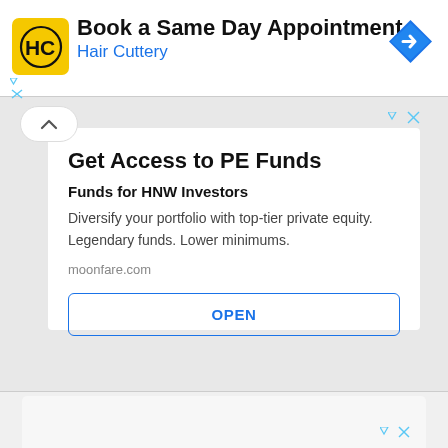[Figure (screenshot): Hair Cuttery advertisement banner: yellow square logo with HC text, headline 'Book a Same Day Appointment', subtext 'Hair Cuttery' in blue, blue diamond navigation icon on right]
[Figure (screenshot): Moonfare PE Funds advertisement card with title 'Get Access to PE Funds', subtitle 'Funds for HNW Investors', body text about diversifying portfolio with private equity, URL moonfare.com, and OPEN button]
[Figure (screenshot): Partial bottom advertisement area with ad controls icons]